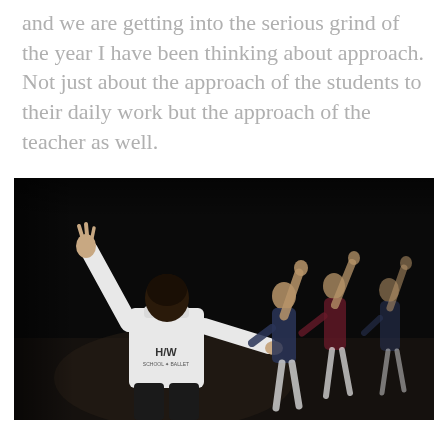and we are getting into the serious grind of the year I have been thinking about approach. Not just about the approach of the students to their daily work but the approach of the teacher as well.
[Figure (photo): A ballet teacher in a white H/W School of Ballet t-shirt faces away from camera with one arm raised, instructing three female ballet dancers in leotards on a dark stage.]
continued text below the image...